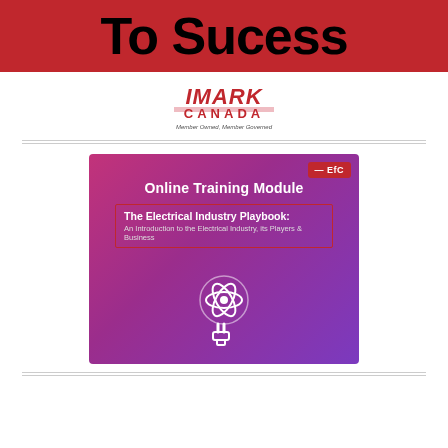To Sucess
[Figure (logo): IMARK Canada logo with text 'Member Owned, Member Governed']
[Figure (illustration): Online Training Module card with purple/pink gradient background. Shows EFC badge top right. Title: 'Online Training Module'. Subtitle box: 'The Electrical Industry Playbook: An Introduction to the Electrical Industry, its Players & Business'. Atom/lightning bolt icon at bottom.]